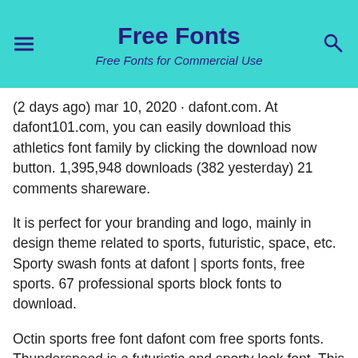Free Fonts
Free Fonts for Commercial Use
(2 days ago) mar 10, 2020 · dafont.com. At dafont101.com, you can easily download this athletics font family by clicking the download now button. 1,395,948 downloads (382 yesterday) 21 comments shareware.
It is perfect for your branding and logo, mainly in design theme related to sports, futuristic, space, etc. Sporty swash fonts at dafont | sports fonts, free sports. 67 professional sports block fonts to download.
Octin sports free font dafont com free sports fonts. Thunderspeed is a futuristic and sporty look font. This font is free for personal use.
Racing hard font is a racing font that comes with a style that looks strong. Check out the 10 best free fonts for sports fans